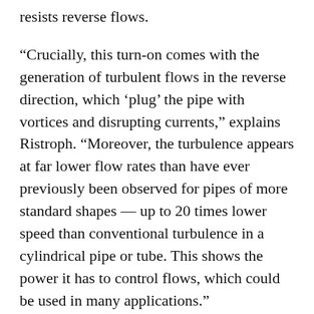resists reverse flows.
“Crucially, this turn-on comes with the generation of turbulent flows in the reverse direction, which ‘plug’ the pipe with vortices and disrupting currents,” explains Ristroph. “Moreover, the turbulence appears at far lower flow rates than have ever previously been observed for pipes of more standard shapes — up to 20 times lower speed than conventional turbulence in a cylindrical pipe or tube. This shows the power it has to control flows, which could be used in many applications.”
In addition, they found that the valve works even better when the flow is not steady — when it comes in pulses or oscillations, which the device then converts into smooth and directed output flow. This pumping action mimics the AC-DC converters that transform alternating current to